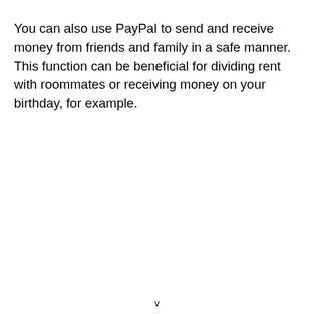You can also use PayPal to send and receive money from friends and family in a safe manner. This function can be beneficial for dividing rent with roommates or receiving money on your birthday, for example.
v